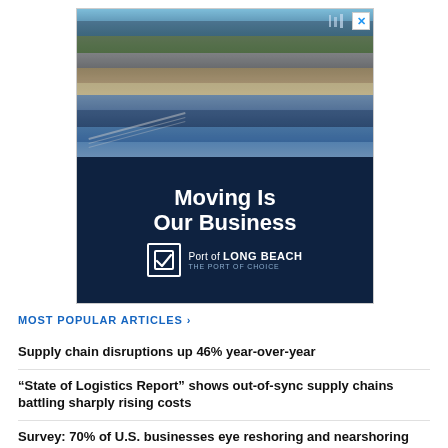[Figure (photo): Advertisement for Port of Long Beach. Top half shows aerial photo of the port with city skyline and harbor. Bottom half has dark navy background with large white text 'Moving Is Our Business', Port of Long Beach logo with checkbox icon, and tagline 'THE PORT OF CHOICE'. Close/X button in top right corner.]
MOST POPULAR ARTICLES ›
Supply chain disruptions up 46% year-over-year
“State of Logistics Report” shows out-of-sync supply chains battling sharply rising costs
Survey: 70% of U.S. businesses eye reshoring and nearshoring